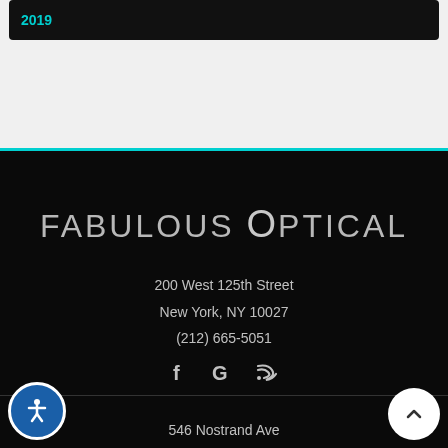2019
FABULOUS OPTICAL
200 West 125th Street
New York, NY 10027
(212) 665-5051
546 Nostrand Ave